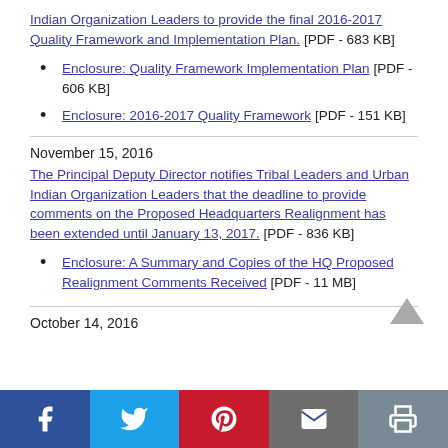Indian Organization Leaders to provide the final 2016-2017 Quality Framework and Implementation Plan. [PDF - 683 KB]
Enclosure: Quality Framework Implementation Plan [PDF - 606 KB]
Enclosure: 2016-2017 Quality Framework [PDF - 151 KB]
November 15, 2016
The Principal Deputy Director notifies Tribal Leaders and Urban Indian Organization Leaders that the deadline to provide comments on the Proposed Headquarters Realignment has been extended until January 13, 2017. [PDF - 836 KB]
Enclosure: A Summary and Copies of the HQ Proposed Realignment Comments Received [PDF - 11 MB]
October 14, 2016
Facebook Twitter Pinterest Email Print